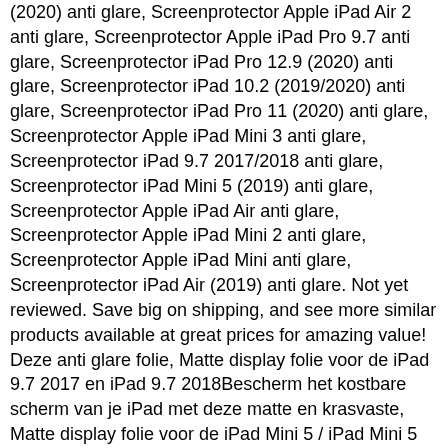(2020) anti glare, Screenprotector Apple iPad Air 2 anti glare, Screenprotector Apple iPad Pro 9.7 anti glare, Screenprotector iPad Pro 12.9 (2020) anti glare, Screenprotector iPad 10.2 (2019/2020) anti glare, Screenprotector iPad Pro 11 (2020) anti glare, Screenprotector Apple iPad Mini 3 anti glare, Screenprotector iPad 9.7 2017/2018 anti glare, Screenprotector iPad Mini 5 (2019) anti glare, Screenprotector Apple iPad Air anti glare, Screenprotector Apple iPad Mini 2 anti glare, Screenprotector Apple iPad Mini anti glare, Screenprotector iPad Air (2019) anti glare. Not yet reviewed. Save big on shipping, and see more similar products available at great prices for amazing value! Deze anti glare folie, Matte display folie voor de iPad 9.7 2017 en iPad 9.7 2018Bescherm het kostbare scherm van je iPad met deze matte en krasvaste, Matte display folie voor de iPad Mini 5 / iPad Mini 5 (2019)Bescherm het kostbare scherm van je iPad met deze matte en krasvaste, iPad 10.2 (2019 / 2020) screenprotector - mat met schoonmaakdoekje. You get two screen protectors in one pack if you choose to order the Supershieldz Tempered Glass Screen Protector. iPad 10.2 (2019 / 2020) screenprotector - mat met schoonmaakdoekje - van eforyou in de categorie Tabletscreenprotector. amFilm iPad Air 4 / Pro 11 inch (2018 & 2020 Models) Screen Protector Glass Ultra Sensitive (2-Pack) amFilm iPad Air 4 / Pro 11 inch Screen Protector Flexible